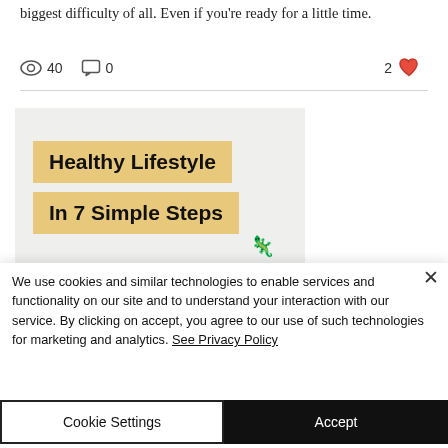biggest difficulty of all. Even if you're ready for a little time.
40 views  0 comments  2 likes
[Figure (illustration): Thumbnail image showing 'Healthy Lifestyle In 7 Simple Steps' with tan/gold highlighted text blocks on a light gray background]
We use cookies and similar technologies to enable services and functionality on our site and to understand your interaction with our service. By clicking on accept, you agree to our use of such technologies for marketing and analytics. See Privacy Policy
Cookie Settings   Accept